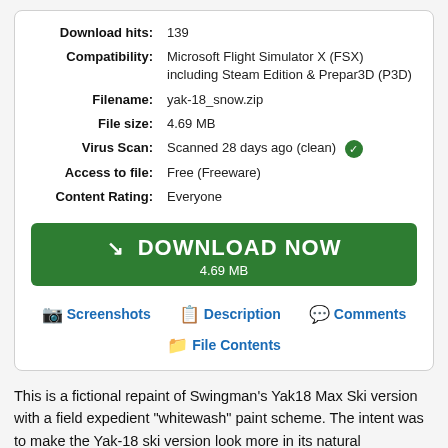| Download hits: | 139 |
| Compatibility: | Microsoft Flight Simulator X (FSX) including Steam Edition & Prepar3D (P3D) |
| Filename: | yak-18_snow.zip |
| File size: | 4.69 MB |
| Virus Scan: | Scanned 28 days ago (clean) ✔ |
| Access to file: | Free (Freeware) |
| Content Rating: | Everyone |
DOWNLOAD NOW
4.69 MB
📷 Screenshots
📋 Description
💬 Comments
📁 File Contents
This is a fictional repaint of Swingman's Yak18 Max Ski version with a field expedient "whitewash" paint scheme. The intent was to make the Yak-18 ski version look more in its natural environment in snow. The whitewash effect idea comes from photos of aircraft and more vehicles that used a tile...